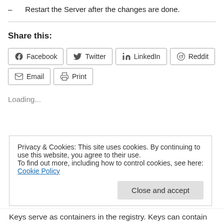– Restart the Server after the changes are done.
Share this:
[Figure (other): Social share buttons: Facebook, Twitter, LinkedIn, Reddit, Email, Print]
Loading...
Privacy & Cookies: This site uses cookies. By continuing to use this website, you agree to their use.
To find out more, including how to control cookies, see here: Cookie Policy
Keys serve as containers in the registry. Keys can contain